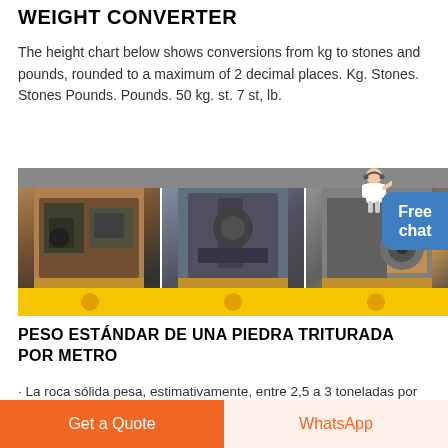WEIGHT CONVERTER
The height chart below shows conversions from kg to stones and pounds, rounded to a maximum of 2 decimal places. Kg. Stones. Stones Pounds. Pounds. 50 kg. st. 7 st, lb.
[Figure (photo): Three industrial machinery/crusher images side by side with yellow bottom bar and a Free chat button overlay with person illustration]
PESO ESTÁNDAR DE UNA PIEDRA TRITURADA POR METRO
· La roca sólida pesa, estimativamente, entre 2,5 a 3 toneladas por metro cúbico. Si la roca se tritura en tamaños uniformes, la
Get a Quote   WhatsApp